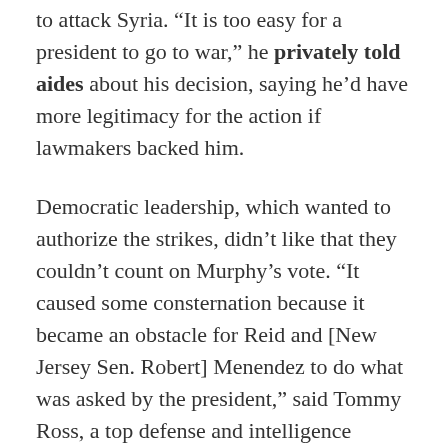to attack Syria. “It is too easy for a president to go to war,” he privately told aides about his decision, saying he’d have more legitimacy for the action if lawmakers backed him.
Democratic leadership, which wanted to authorize the strikes, didn’t like that they couldn’t count on Murphy’s vote. “It caused some consternation because it became an obstacle for Reid and [New Jersey Sen. Robert] Menendez to do what was asked by the president,” said Tommy Ross, a top defense and intelligence adviser to Senate Majority Leader Reid at the time. He noted that almost everyone thought Murphy’s objections were reasonable, including the senator’s worry that strikes might make it easier for terrorist groups to get their hands on chemical weapons.